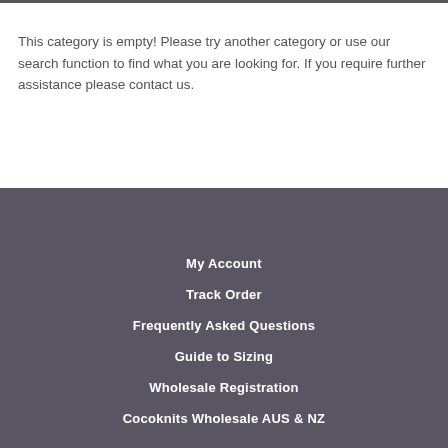This category is empty! Please try another category or use our search function to find what you are looking for. If you require further assistance please contact us.
My Account
Track Order
Frequently Asked Questions
Guide to Sizing
Wholesale Registration
Cocoknits Wholesale AUS & NZ